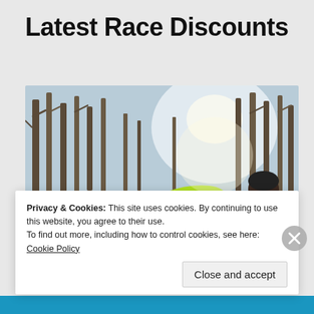Latest Race Discounts
[Figure (photo): Person in bright neon green jacket doing a push-up or plank position on a snowy forest trail, with trees and bright sunlight in the background]
Privacy & Cookies: This site uses cookies. By continuing to use this website, you agree to their use.
To find out more, including how to control cookies, see here: Cookie Policy
Close and accept